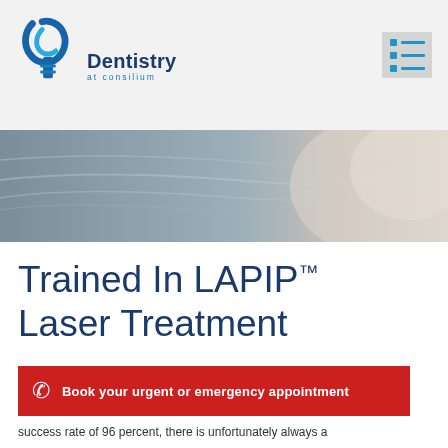[Figure (logo): Dentistry at Consilium logo — blue tooth/implant swirl icon with text 'Dentistry at consilium']
[Figure (photo): Close-up hero banner photo of dental instruments or metal surface with blurred background, transitioning to light beige on the right]
Trained In LAPIP™ Laser Treatment
Book your urgent or emergency appointment
success rate of 96 percent, there is unfortunately always a possibility of implant failure, which is why having access to